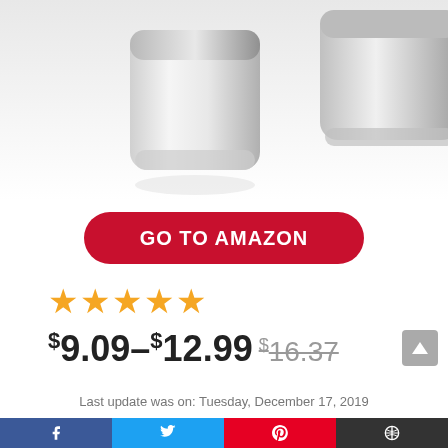[Figure (photo): Product photo of two silver/chrome cosmetic or condiment containers on a white background, viewed from above at an angle]
GO TO AMAZON
[Figure (other): 5 orange/gold star rating icons]
$9.09–$12.99 $16.37
Last update was on: Tuesday, December 17, 2019
[Figure (other): Social sharing bar with Facebook, Twitter, Pinterest, and other icons]